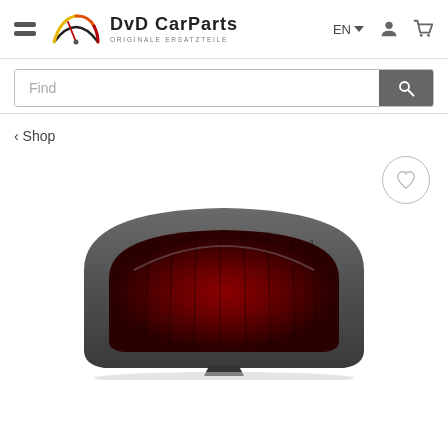DvD CarParts - ORIGINALE ERSATZTEILE
Find
‹ Shop
[Figure (photo): Product photo of a car brake stop light / third brake light unit, dark grey/black plastic housing with red lens, photographed on white background.]